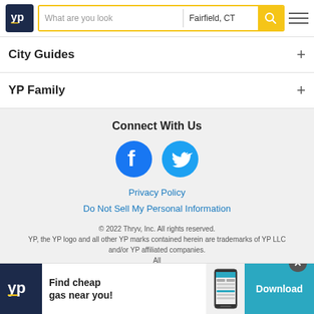[Figure (logo): YP yellow pages logo in dark navy square]
What are you look
Fairfield, CT
City Guides
YP Family
Connect With Us
[Figure (logo): Facebook and Twitter social media icons]
Privacy Policy
Do Not Sell My Personal Information
© 2022 Thryv, Inc. All rights reserved. YP, the YP logo and all other YP marks contained herein are trademarks of YP LLC and/or YP affiliated companies.
All
[Figure (infographic): Ad banner: YP logo, Find cheap gas near you!, phone screenshot, Download button]